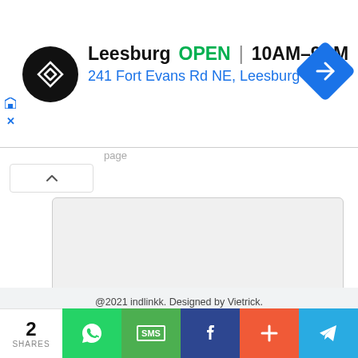[Figure (screenshot): Ad banner showing Leesburg store location with logo, OPEN status, hours 10AM-9PM, address 241 Fort Evans Rd NE Leesburg, and navigation icon]
page
[Figure (screenshot): Web form UI with collapse button, message textarea, and blue Send button]
@2021 indlinkk. Designed by Vietrick. Created by : samacheer guide online
Home   About   Contact   Site Map
[Figure (infographic): Share bar with count 2 SHARES, WhatsApp, SMS, Facebook, More (+), and Telegram buttons]